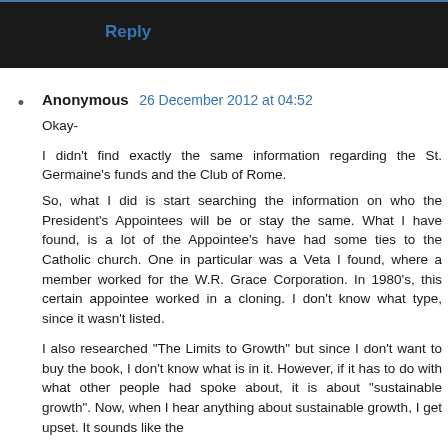Reply
Anonymous 26 December 2012 at 04:52

Okay-

I didn't find exactly the same information regarding the St. Germaine's funds and the Club of Rome.
So, what I did is start searching the information on who the President's Appointees will be or stay the same. What I have found, is a lot of the Appointee's have had some ties to the Catholic church. One in particular was a Veta I found, where a member worked for the W.R. Grace Corporation. In 1980's, this certain appointee worked in a cloning. I don't know what type, since it wasn't listed.

I also researched "The Limits to Growth" but since I don't want to buy the book, I don't know what is in it. However, if it has to do with what other people had spoke about, it is about "sustainable growth". Now, when I hear anything about sustainable growth, I get upset. It sounds like the